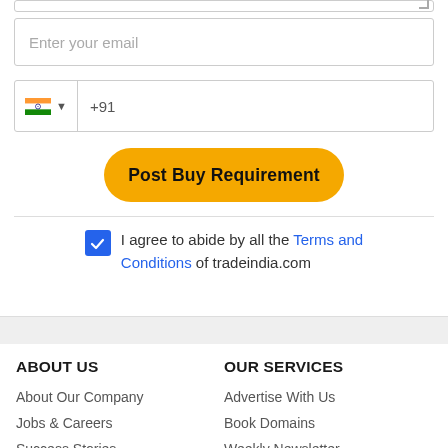[Figure (screenshot): Email input field with placeholder text 'Enter your email']
[Figure (screenshot): Phone input with Indian flag, dropdown arrow, and +91 country code]
[Figure (screenshot): Yellow rounded 'Post Buy Requirement' button]
I agree to abide by all the Terms and Conditions of tradeindia.com
ABOUT US
OUR SERVICES
About Our Company
Advertise With Us
Jobs & Careers
Book Domains
Success Stories
Weekly Newsletter